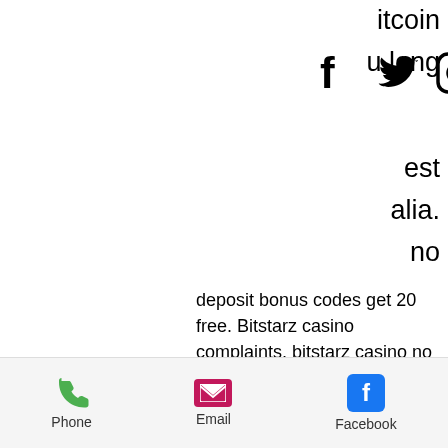itcoin u long
[Figure (screenshot): Navigation bar with Facebook, Twitter, Instagram icons and hamburger menu]
est alia. no deposit bonus codes get 20 free. Bitstarz casino complaints, bitstarz casino no deposit bonus. User: bitstarz login australia, bitstarz news, title: new member, about: bitstarz login. Bitstarz casino was one of the first major cryptocurrency-accepting online casinos to launch and make themselves open to australian players. Know the crypto prospects of the month for firepin token (frpn), cronos (cro), and avalanche (avax) to decide the investment strategy for. My favorite online casino turns eight today! and like all my besties' birthdays, i need to
Phone  Email  Facebook